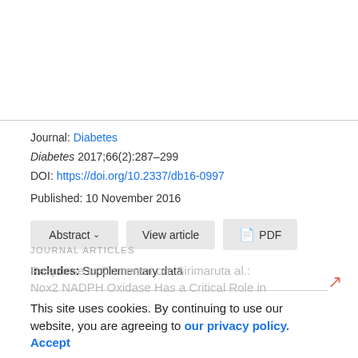Journal: Diabetes
Diabetes 2017;66(2):287–299
DOI: https://doi.org/10.2337/db16-0997
Published: 10 November 2016
Abstract ∨   View article   📄 PDF
Includes: Supplementary data
JOURNAL ARTICLES
Response to Comment on: Sirimaruta al.: Nox2 NADPH Oxidase Has a Critical Role in Insulin Resistance–Related Endothelial Cell Dysfunction. Diabetes 2013;62:3134–3147
This site uses cookies. By continuing to use our website, you are agreeing to our privacy policy. Accept